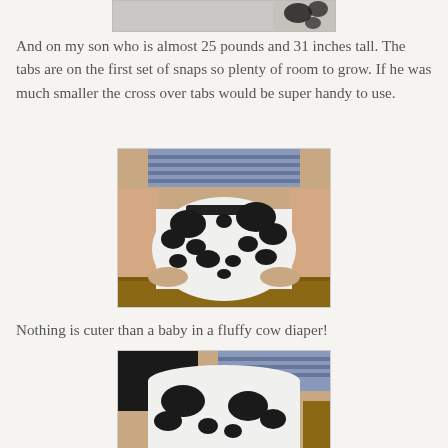[Figure (photo): Top partial photo of cow-print diaper, cropped at top of page]
And on my son who is almost 25 pounds and 31 inches tall. The tabs are on the first set of snaps so plenty of room to grow. If he was much smaller the cross over tabs would be super handy to use.
[Figure (photo): Photo of baby wearing black and white cow-print cloth diaper, shown from behind/below, baby sitting on wooden surface with striped shirt visible]
Nothing is cuter than a baby in a fluffy cow diaper!
[Figure (photo): Partial photo of baby in cow-print diaper, cropped at bottom of page, showing diaper from side/front]